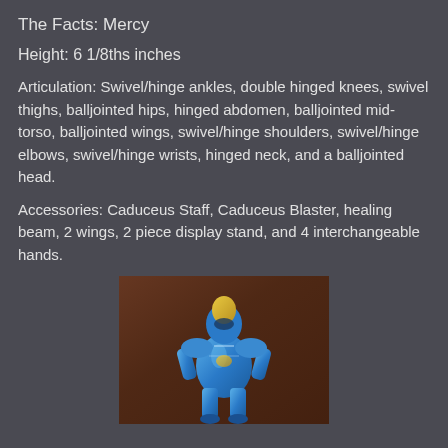The Facts: Mercy
Height: 6 1/8ths inches
Articulation: Swivel/hinge ankles, double hinged knees, swivel thighs, balljointed hips, hinged abdomen, balljointed mid-torso, balljointed wings, swivel/hinge shoulders, swivel/hinge elbows, swivel/hinge wrists, hinged neck, and a balljointed head.
Accessories: Caduceus Staff, Caduceus Blaster, healing beam, 2 wings, 2 piece display stand, and 4 interchangeable hands.
[Figure (photo): Photo of a blue armored action figure (Mercy in blue/gold armor) posed on a wooden background, facing forward with arms slightly raised.]